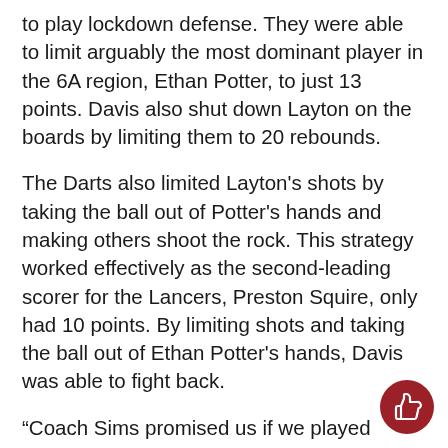to play lockdown defense. They were able to limit arguably the most dominant player in the 6A region, Ethan Potter, to just 13 points. Davis also shut down Layton on the boards by limiting them to 20 rebounds.
The Darts also limited Layton's shots by taking the ball out of Potter's hands and making others shoot the rock. This strategy worked effectively as the second-leading scorer for the Lancers, Preston Squire, only had 10 points. By limiting shots and taking the ball out of Ethan Potter's hands, Davis was able to fight back.
“Coach Sims promised us if we played lockdown defense and limited their shots that things would work out,” stated Spencer Ferguson after the game.
The Davis Darts only held a lead for 43 seconds the entire night, but Rex Sunderland’s buzzer-beater is what caused Davis into the next game of fontsThe